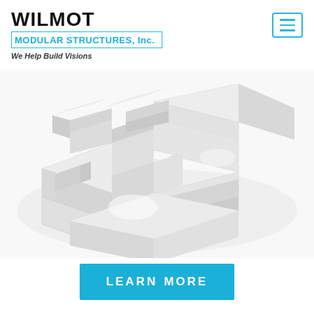WILMOT
MODULAR STRUCTURES, Inc.
We Help Build Visions
[Figure (illustration): 3D isometric rendering of a modular building floor plan with white and grey walls forming multiple rooms, viewed from above at an angle]
LEARN MORE